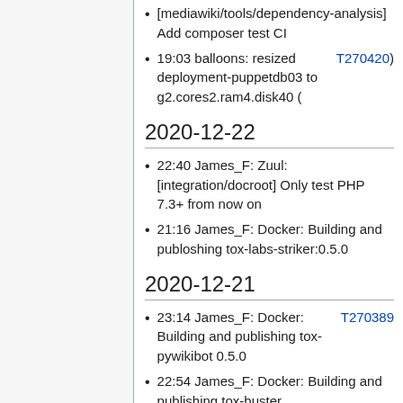[mediawiki/tools/dependency-analysis] Add composer test CI
19:03 balloons: resized deployment-puppetdb03 to g2.cores2.ram4.disk40 (T270420)
2020-12-22
22:40 James_F: Zuul: [integration/docroot] Only test PHP 7.3+ from now on
21:16 James_F: Docker: Building and publoshing tox-labs-striker:0.5.0
2020-12-21
23:14 James_F: Docker: Building and publishing tox-pywikibot 0.5.0 T270389
22:54 James_F: Docker: Building and publishing tox-buster
19:55 James_F: Zuul: Con[fi...